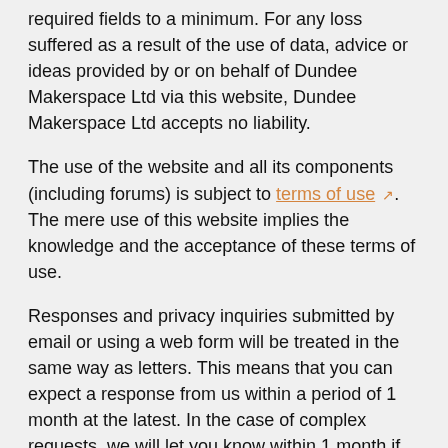required fields to a minimum. For any loss suffered as a result of the use of data, advice or ideas provided by or on behalf of Dundee Makerspace Ltd via this website, Dundee Makerspace Ltd accepts no liability.
The use of the website and all its components (including forums) is subject to terms of use. The mere use of this website implies the knowledge and the acceptance of these terms of use.
Responses and privacy inquiries submitted by email or using a web form will be treated in the same way as letters. This means that you can expect a response from us within a period of 1 month at the latest. In the case of complex requests, we will let you know within 1 month if we need a maximum of 3 months.
Any personal data you provide us with in the context of your response or request for information will only be used